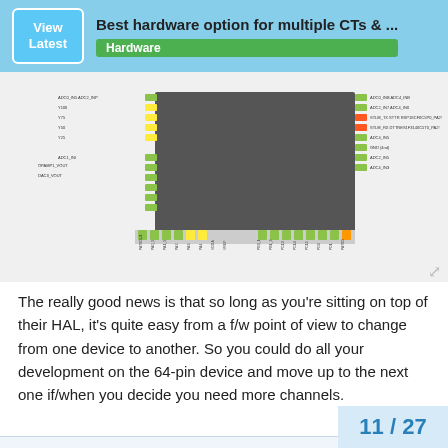View Latest | Best hardware option for multiple CTs & ... | Hardware
[Figure (engineering-diagram): STM32 microcontroller pinout diagram showing a chip with GPIO pins labeled including ADC channels, UART, SPI, and other peripheral pins on all four sides with color-coded pin labels]
The really good news is that so long as you're sitting on top of their HAL, it's quite easy from a f/w point of view to change from one device to another. So you could do all your development on the 64-pin device and move up to the next one if/when you decide you need more channels.
pb66:
but there are several uarts so I shouldn't lose adc's to “the” serial connection.
Yes, fortunately the uarts don't generally c... pins, so you've lots of pins to support that.
11 / 27